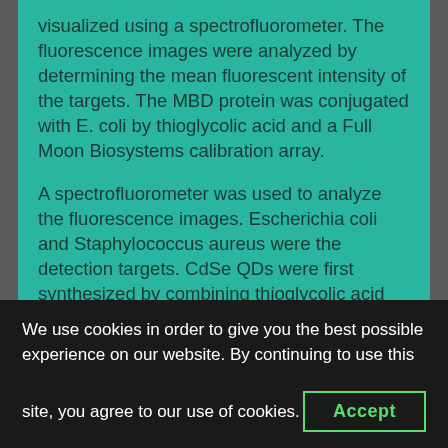visualized using a spectrofluorometer. The fluorescence images were analyzed by determining the mean fluorescent intensity of the targets. The MBD protein was conjugated with E. coli by thioglycolic acid and a Full Moon Biosystems calibration array.
A spectrofluorometer was used to analyze the fluorescence images. Escherichia coli and Staphylococcus aureus were the detection targets. CdSe QDs were first synthesized by combining thioglycolic acid with a target bacterial cell. Next, the bacterial cell image was
We use cookies in order to give you the best possible experience on our website. By continuing to use this site, you agree to our use of cookies.